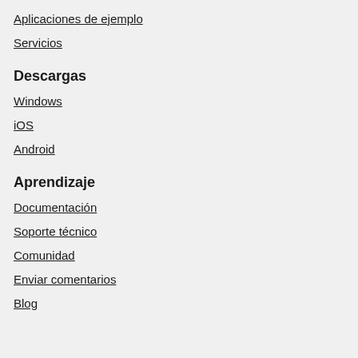Aplicaciones de ejemplo
Servicios
Descargas
Windows
iOS
Android
Aprendizaje
Documentación
Soporte técnico
Comunidad
Enviar comentarios
Blog